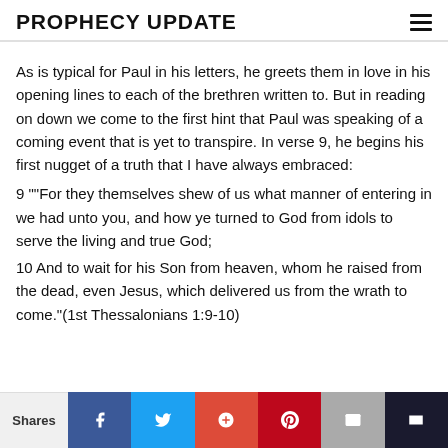PROPHECY UPDATE
As is typical for Paul in his letters, he greets them in love in his opening lines to each of the brethren written to. But in reading on down we come to the first hint that Paul was speaking of a coming event that is yet to transpire. In verse 9, he begins his first nugget of a truth that I have always embraced:
9 ""For they themselves shew of us what manner of entering in we had unto you, and how ye turned to God from idols to serve the living and true God;
10 And to wait for his Son from heaven, whom he raised from the dead, even Jesus, which delivered us from the wrath to come."(1st Thessalonians 1:9-10)